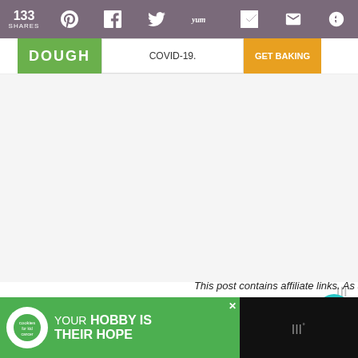133 SHARES | Pinterest | Facebook | Twitter | Yummly | Tumblr | Email | More
[Figure (screenshot): Advertisement banner: DOUGH brand with COVID-19 text and GET BAKING button]
[Figure (screenshot): Large empty white/light content area (main article image placeholder)]
This post contains affiliate links. As always, all opinions are own.
[Figure (screenshot): What's Next widget with food image and label 'Kickin' Chicken Chili']
[Figure (screenshot): Bottom advertisement banner: cookies for kid's cancer - your HOBBY is their HOPE]